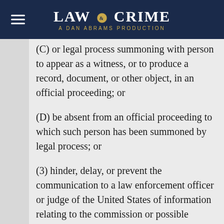LAW & CRIME — A DAN ABRAMS PRODUCTION
(C) or legal process summoning with person to appear as a witness, or to produce a record, document, or other object, in an official proceeding; or
(D) be absent from an official proceeding to which such person has been summoned by legal process; or
(3) hinder, delay, or prevent the communication to a law enforcement officer or judge of the United States of information relating to the commission or possible commission of a Federal offense or a violation of conditions of probation[1]